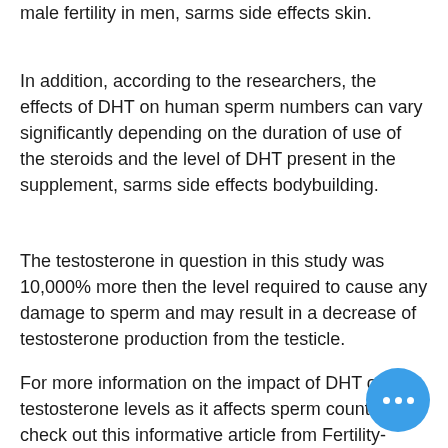male fertility in men, sarms side effects skin.
In addition, according to the researchers, the effects of DHT on human sperm numbers can vary significantly depending on the duration of use of the steroids and the level of DHT present in the supplement, sarms side effects bodybuilding.
The testosterone in question in this study was 10,000% more then the level required to cause any damage to sperm and may result in a decrease of testosterone production from the testicle.
For more information on the impact of DHT on testosterone levels as it affects sperm counts, check out this informative article from Fertility-Nutrition, sarms side effects acne.com, sarms side effects acne.
[Figure (other): Blue circular floating action button with three horizontal white dots (ellipsis icon) in the bottom-right corner of the page.]